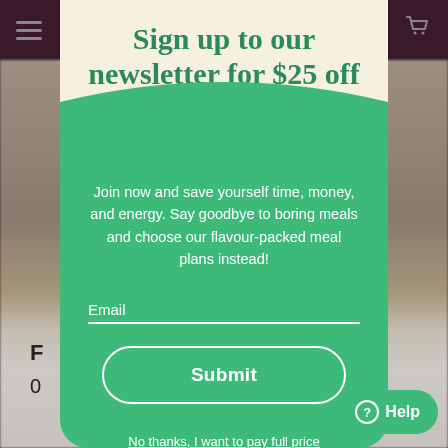Sign up to our newsletter for $25 off
Join now and save yourself time, money, and energy. Say goodbye to boring meals and choose our flavour-packed meal plans instead!
Email
Submit
No thanks, I want to pay full price
Help